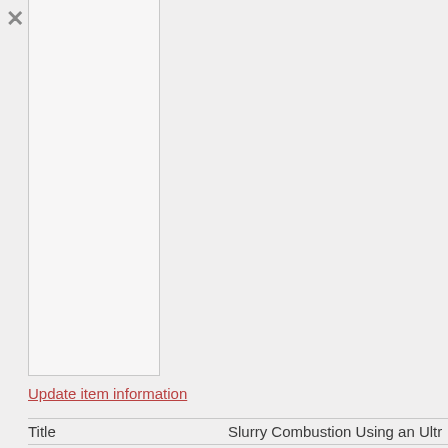Update item information
| Title | Slurry Combustion Using an Ultr |
| --- | --- |